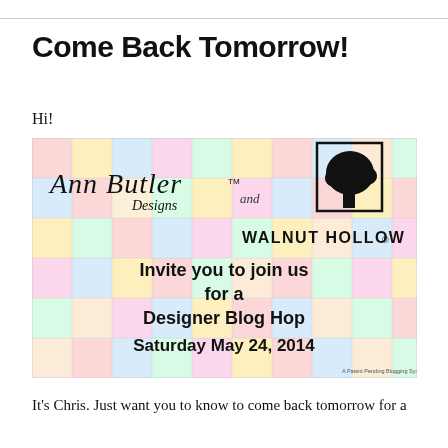Come Back Tomorrow!
Hi!
[Figure (illustration): Promotional graphic for Ann Butler Designs and Walnut Hollow, inviting viewers to join a Designer Blog Hop on Saturday May 24, 2014. Background is a colorful patchwork quilt pattern with pastel squares. Text reads: Ann Butler Designs (TM) and Walnut Hollow invite you to join us for a Designer Blog Hop Saturday May 24, 2014.]
It's Chris. Just want you to know to come back tomorrow for a